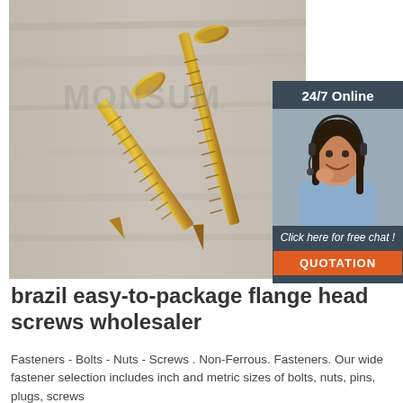[Figure (photo): Two gold/brass-colored flange head wood screws lying diagonally on a light gray wooden surface. A faint watermark text 'MONSUM' is visible on the image.]
[Figure (infographic): Sidebar widget with dark blue-gray background showing '24/7 Online' text, a photo of a smiling female customer service agent wearing a headset, text 'Click here for free chat!', and an orange 'QUOTATION' button.]
brazil easy-to-package flange head screws wholesaler
Fasteners - Bolts - Nuts - Screws . Non-Ferrous. Fasteners. Our wide fastener selection includes inch and metric sizes of bolts, nuts, pins, plugs, screws